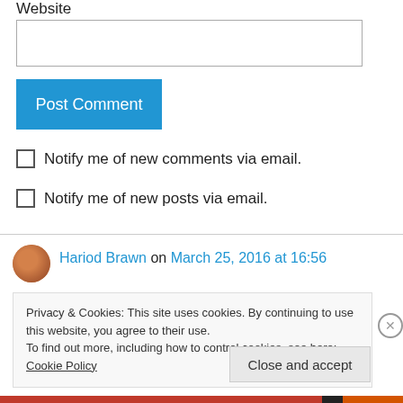Website
Post Comment
Notify me of new comments via email.
Notify me of new posts via email.
Hariod Brawn on March 25, 2016 at 16:56
Privacy & Cookies: This site uses cookies. By continuing to use this website, you agree to their use.
To find out more, including how to control cookies, see here: Cookie Policy
Close and accept